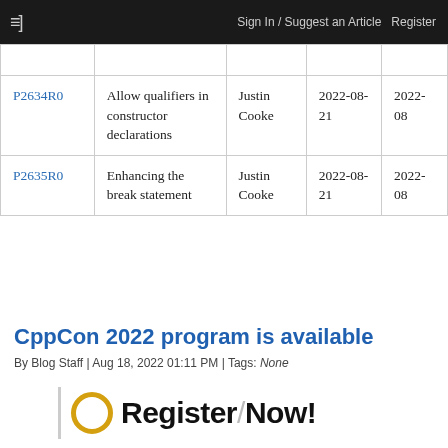≡]   Sign In / Suggest an Article   Register
|  |  |  |  |  |
| --- | --- | --- | --- | --- |
| P2634R0 | Allow qualifiers in constructor declarations | Justin Cooke | 2022-08-21 | 2022-08 |
| P2635R0 | Enhancing the break statement | Justin Cooke | 2022-08-21 | 2022-08 |
CppCon 2022 program is available
By Blog Staff | Aug 18, 2022 01:11 PM | Tags: None
[Figure (infographic): Register Now! banner with gold circle and vertical grey line]